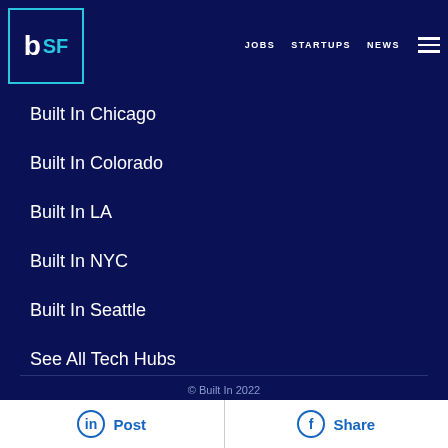Built In SF — JOBS  STARTUPS  NEWS
Built In Chicago
Built In Colorado
Built In LA
Built In NYC
Built In Seattle
See All Tech Hubs
© Built In 2022
Accessibility Statement
Post  Share